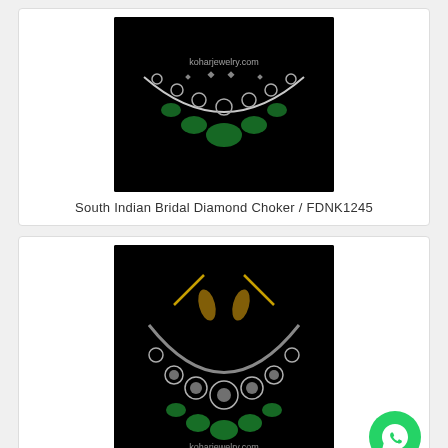[Figure (photo): South Indian Bridal Diamond Choker necklace with green gemstones on black background, watermarked koharjewelry.com]
South Indian Bridal Diamond Choker  /  FDNK1245
[Figure (photo): Andhra Design Beautiful Diamond Necklace with green gemstones on black background, watermarked koharjewelry.com]
Andhra Designe Beautiful Diamond Necklace  /  FDNK14...